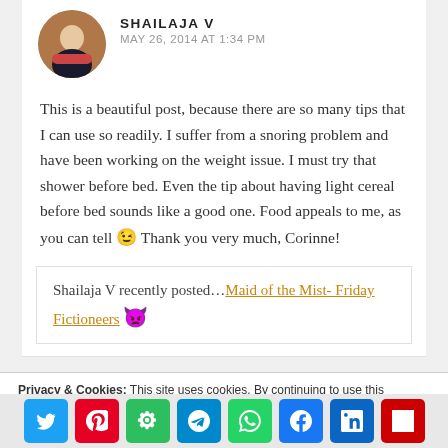SHAILAJA V
MAY 26, 2014 AT 1:34 PM
This is a beautiful post, because there are so many tips that I can use so readily. I suffer from a snoring problem and have been working on the weight issue. I must try that shower before bed. Even the tip about having light cereal before bed sounds like a good one. Food appeals to me, as you can tell 😉 Thank you very much, Corinne!
Shailaja V recently posted…Maid of the Mist- Friday Fictioneers 🔴
Privacy & Cookies: This site uses cookies. By continuing to use this website, you agree to their use.
To find out more, including how to control cookies, see here: Cookie Policy